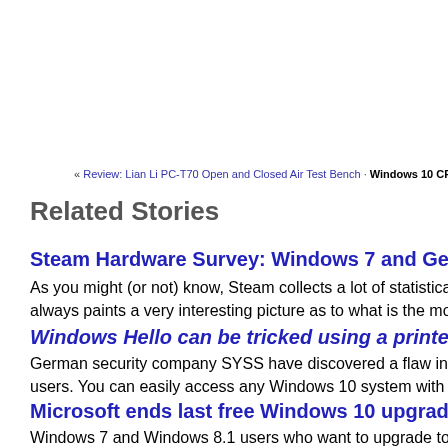« Review: Lian Li PC-T70 Open and Closed Air Test Bench · Windows 10 CPU Bug Fix P…
Related Stories
Steam Hardware Survey: Windows 7 and GeForce GTX 1060 Le…
As you might (or not) know, Steam collects a lot of statistical data f… always paints a very interesting picture as to what is the most popul…
Windows Hello can be tricked using a printed photo - 12/28/201…
German security company SYSS have discovered a flaw in the H… users. You can easily access any Windows 10 system with a printed…
Microsoft ends last free Windows 10 upgrade possibility by 31s…
Windows 7 and Windows 8.1 users who want to upgrade to Windo… options for it to be free. Microsoft ends one of the last free upgrade…